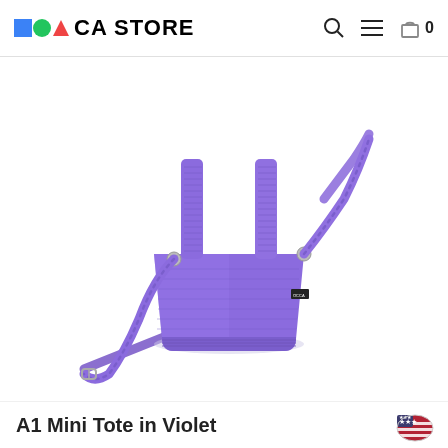MOCA STORE
[Figure (photo): A violet/purple mini tote bag with ribbed textile straps, a crossbody shoulder strap with metal hardware clips, and a small brand tag on the side. The bag is photographed on a white background.]
A1 Mini Tote in Violet